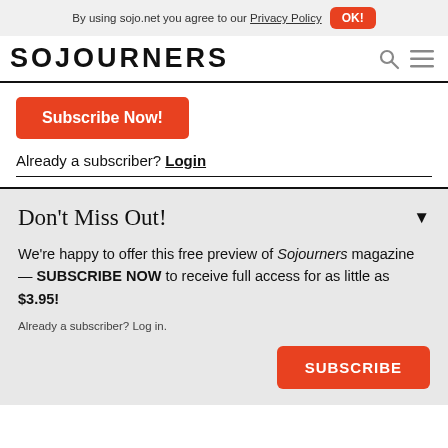By using sojo.net you agree to our Privacy Policy OK!
[Figure (logo): SOJOURNERS logo in bold black uppercase letters with navigation icons]
Subscribe Now!
Already a subscriber? Login
Don't Miss Out!
We're happy to offer this free preview of Sojourners magazine — SUBSCRIBE NOW to receive full access for as little as $3.95!
Already a subscriber? Log in.
SUBSCRIBE